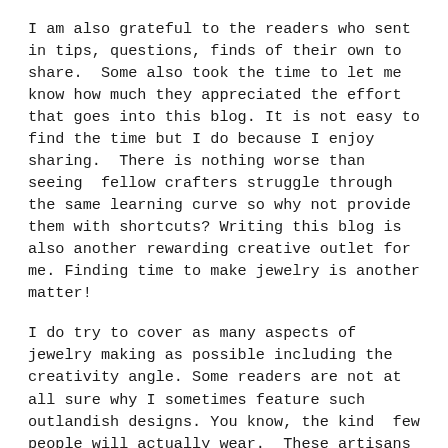I am also grateful to the readers who sent in tips, questions, finds of their own to share.  Some also took the time to let me know how much they appreciated the effort that goes into this blog. It is not easy to find the time but I do because I enjoy sharing.  There is nothing worse than seeing  fellow crafters struggle through the same learning curve so why not provide them with shortcuts? Writing this blog is also another rewarding creative outlet for me. Finding time to make jewelry is another matter!
I do try to cover as many aspects of jewelry making as possible including the creativity angle. Some readers are not at all sure why I sometimes feature such outlandish designs. You know, the kind  few people will actually wear.  These artisans do show us that creativity has no limits. If we set limits based on our own comfort zones, how are we going to reach beyond? Just as the catwalk fashions are really not for ordinary folks, others are inspired by the leading